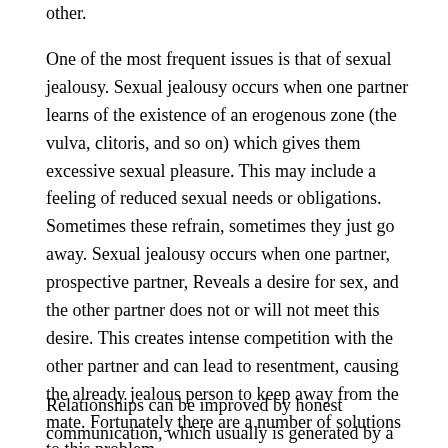other.
One of the most frequent issues is that of sexual jealousy. Sexual jealousy occurs when one partner learns of the existence of an erogenous zone (the vulva, clitoris, and so on) which gives them excessive sexual pleasure. This may include a feeling of reduced sexual needs or obligations. Sometimes these refrain, sometimes they just go away. Sexual jealousy occurs when one partner, prospective partner, Reveals a desire for sex, and the other partner does not or will not meet this desire. This creates intense competition with the other partner and can lead to resentment, causing the already jealous person to keep away from the mate. Fortunately there are a number of solutions to this problem.
Relationships can be improved by honest communication, which usually is generated by a